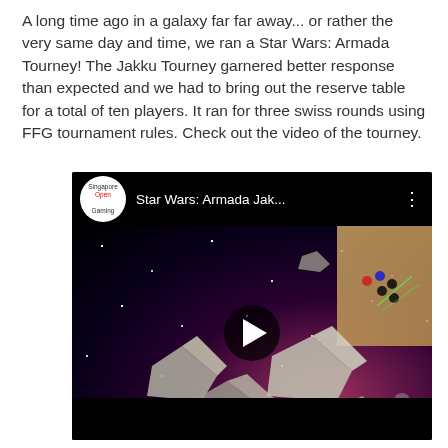A long time ago in a galaxy far far away... or rather the very same day and time, we ran a Star Wars: Armada Tourney! The Jakku Tourney garnered better response than expected and we had to bring out the reserve table for a total of ten players. It ran for three swiss rounds using FFG tournament rules. Check out the video of the tourney.
[Figure (screenshot): Embedded YouTube video thumbnail showing Star Wars: Armada Jakku Tourney game in progress. The video player shows spaceship miniatures on a space-themed game board. The channel icon shows 'Singapore Open Gaming'. The video title reads 'Star Wars: Armada Jak...' with a play button overlay.]